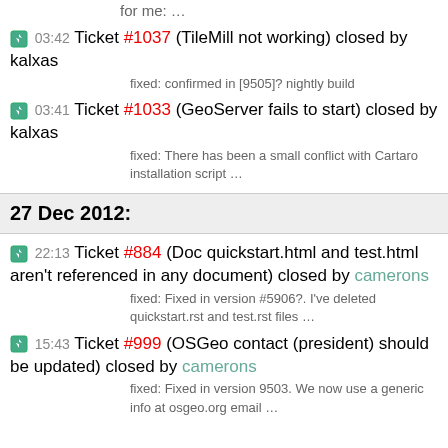for me: …
03:42 Ticket #1037 (TileMill not working) closed by kalxas
fixed: confirmed in [9505]? nightly build
03:41 Ticket #1033 (GeoServer fails to start) closed by kalxas
fixed: There has been a small conflict with Cartaro installation script …
27 Dec 2012:
22:13 Ticket #884 (Doc quickstart.html and test.html aren't referenced in any document) closed by camerons
fixed: Fixed in version #5906?. I've deleted quickstart.rst and test.rst files …
15:43 Ticket #999 (OSGeo contact (president) should be updated) closed by camerons
fixed: Fixed in version 9503. We now use a generic info at osgeo.org email …